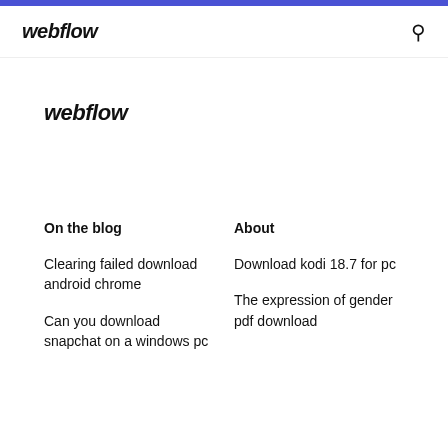webflow
webflow
On the blog
About
Clearing failed download android chrome
Can you download snapchat on a windows pc
Download kodi 18.7 for pc
The expression of gender pdf download